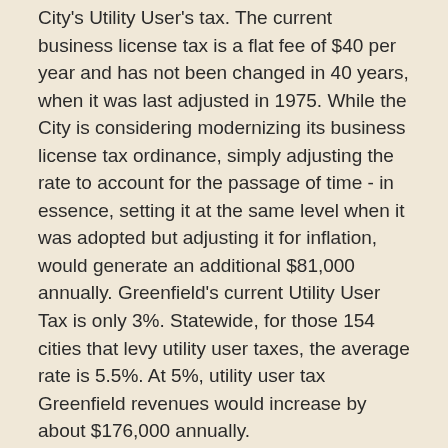City's Utility User's tax. The current business license tax is a flat fee of $40 per year and has not been changed in 40 years, when it was last adjusted in 1975. While the City is considering modernizing its business license tax ordinance, simply adjusting the rate to account for the passage of time - in essence, setting it at the same level when it was adopted but adjusting it for inflation, would generate an additional $81,000 annually. Greenfield's current Utility User Tax is only 3%. Statewide, for those 154 cities that levy utility user taxes, the average rate is 5.5%. At 5%, utility user tax Greenfield revenues would increase by about $176,000 annually.
While the City Council acknowledged the merits of adopting new revenue sources and revising the methodology used to calculate other City fees and charges, (i.e. business licenses), the consensus was to proactively seek voter approval for extending the current 1% General Transaction and Use Tax (Measure V) that was approved by Greenfield voters on June 8, 2012 (Measure X), about to expire in 2017. Additionally, th...